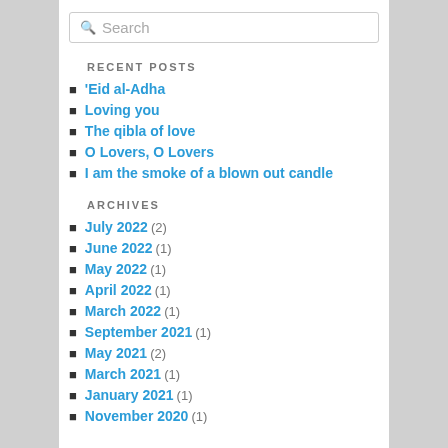RECENT POSTS
’Eid al-Adha
Loving you
The qibla of love
O Lovers, O Lovers
I am the smoke of a blown out candle
ARCHIVES
July 2022 (2)
June 2022 (1)
May 2022 (1)
April 2022 (1)
March 2022 (1)
September 2021 (1)
May 2021 (2)
March 2021 (1)
January 2021 (1)
November 2020 (1)